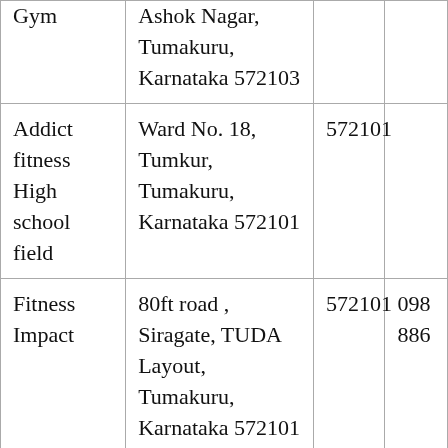| Gym | Ashok Nagar, Tumakuru, Karnataka 572103 |  |  |
| Addict fitness High school field | Ward No. 18, Tumkur, Tumakuru, Karnataka 572101 | 572101 |  |
| Fitness Impact | 80ft road , Siragate, TUDA Layout, Tumakuru, Karnataka 572101 | 572101 | 098 886 |